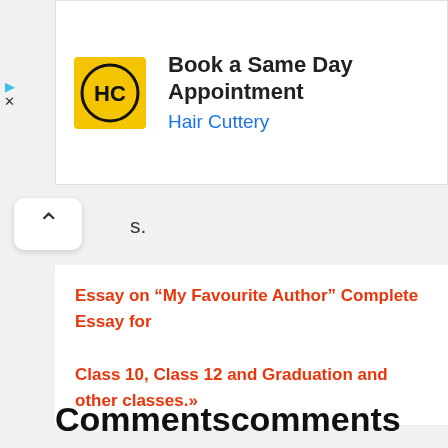[Figure (screenshot): Advertisement banner for Hair Cuttery with yellow logo showing HC initials, headline 'Book a Same Day Appointment' and subline 'Hair Cuttery' in blue]
s.
Essay on “My Favourite Author” Complete Essay for Class 10, Class 12 and Graduation and other classes.»
Commentscomments